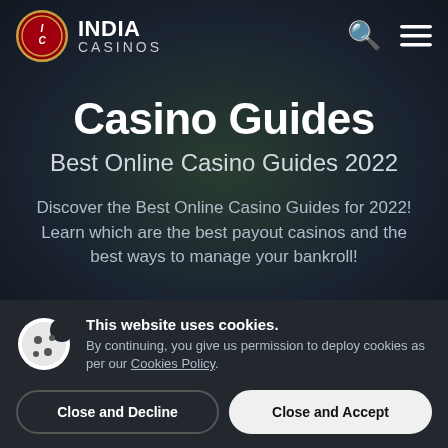[Figure (logo): India Casinos logo with red circle IC emblem and white text INDIA CASINOS]
Casino Guides
Best Online Casino Guides 2022
Discover the Best Online Casino Guides for 2022! Learn which are the best payout casinos and the best ways to manage your bankroll!
This website uses cookies. By continuing, you give us permission to deploy cookies as per our Cookies Policy.
Close and Decline
Close and Accept